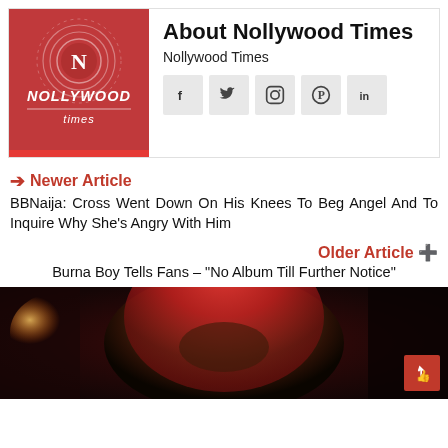[Figure (logo): Nollywood Times logo: red square background with circular decorative rings, bold N in center circle, NOLLYWOOD in white italic bold text, 'times' in white italic below with horizontal rules]
About Nollywood Times
Nollywood Times
[Figure (infographic): Social media icons: Facebook (f), Twitter bird, Instagram, Pinterest, LinkedIn]
Newer Article
BBNaija: Cross Went Down On His Knees To Beg Angel And To Inquire Why She's Angry With Him
Older Article
Burna Boy Tells Fans – "No Album Till Further Notice"
[Figure (photo): A man wearing a red hood/cloak looking upward against a dark background, with a light glow on the left side]